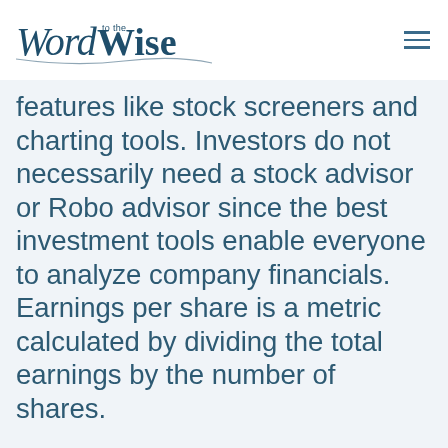Word to the Wise
features like stock screeners and charting tools. Investors do not necessarily need a stock advisor or Robo advisor since the best investment tools enable everyone to analyze company financials. Earnings per share is a metric calculated by dividing the total earnings by the number of shares.